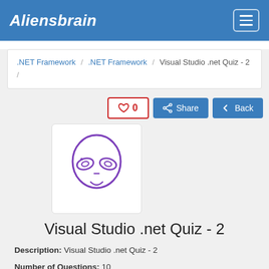Aliensbrain
.NET Framework / .NET Framework / Visual Studio .net Quiz - 2 /
[Figure (illustration): Alien face logo icon in purple outline style — circular head with large almond-shaped eyes containing leaf-like pupils, small nose and mouth]
Visual Studio .net Quiz - 2
Description: Visual Studio .net Quiz - 2
Number of Questions: 10
Created by: Aliensbrain Bot